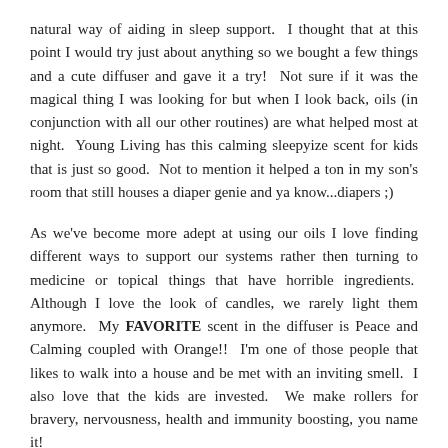natural way of aiding in sleep support.  I thought that at this point I would try just about anything so we bought a few things and a cute diffuser and gave it a try!  Not sure if it was the magical thing I was looking for but when I look back, oils (in conjunction with all our other routines) are what helped most at night.  Young Living has this calming sleepyize scent for kids that is just so good.  Not to mention it helped a ton in my son's room that still houses a diaper genie and ya know...diapers ;)
As we've become more adept at using our oils I love finding different ways to support our systems rather then turning to medicine or topical things that have horrible ingredients.  Although I love the look of candles, we rarely light them anymore.  My FAVORITE scent in the diffuser is Peace and Calming coupled with Orange!!  I'm one of those people that likes to walk into a house and be met with an inviting smell.  I also love that the kids are invested.  We make rollers for bravery, nervousness, health and immunity boosting, you name it!
Another reason when making the switch to a cleaner lifestyle is the added benefit of buying everything in ONE place.  I was SO sick of going to target, whole foods, trader joes, etc.  It did NOT work with my lifestyle.  I just quickly edit my essential rewards cart once a month and stock up on must haves like: